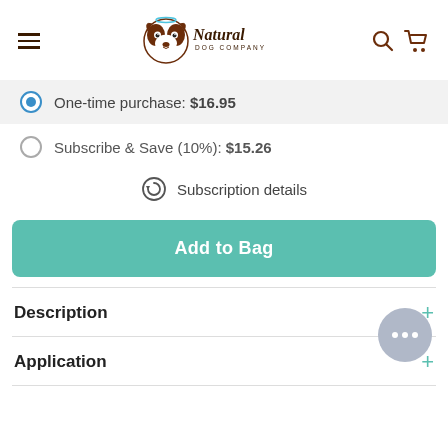[Figure (logo): Natural Dog Company logo with Boston Terrier dog face wearing a halo, brown and white logo with cursive 'Natural' and 'DOG COMPANY' text]
One-time purchase: $16.95
Subscribe & Save (10%): $15.26
Subscription details
Add to Bag
Description
Application